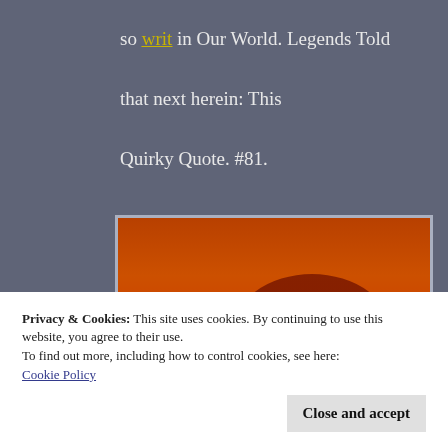so writ in Our World. Legends Told
that next herein: This
Quirky Quote. #81.
[Figure (photo): Photograph of a bright sun low on the horizon with an orange-red sky gradient, the sun appearing as a white glowing orb near the bottom center of the image.]
Privacy & Cookies: This site uses cookies. By continuing to use this website, you agree to their use.
To find out more, including how to control cookies, see here:
Cookie Policy
Close and accept